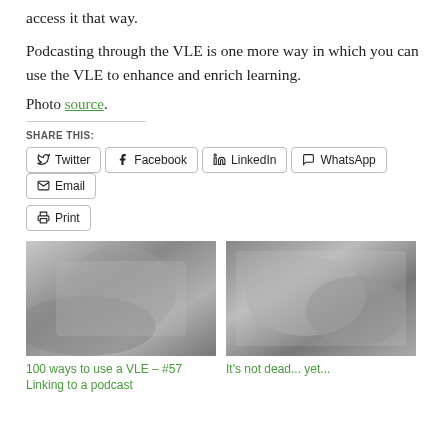access it that way.
Podcasting through the VLE is one more way in which you can use the VLE to enhance and enrich learning.
Photo source.
SHARE THIS:
Twitter | Facebook | LinkedIn | WhatsApp | Email | Print
[Figure (photo): Black and white photo of a person bending over, writing or working at a surface]
100 ways to use a VLE – #57 Linking to a podcast
[Figure (photo): Black and white photo of children huddled together, looking down at something]
It's not dead... yet...